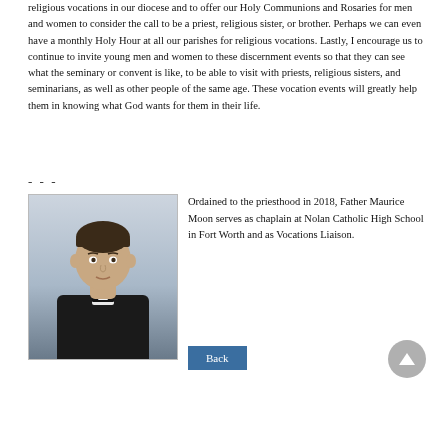religious vocations in our diocese and to offer our Holy Communions and Rosaries for men and women to consider the call to be a priest, religious sister, or brother. Perhaps we can even have a monthly Holy Hour at all our parishes for religious vocations. Lastly, I encourage us to continue to invite young men and women to these discernment events so that they can see what the seminary or convent is like, to be able to visit with priests, religious sisters, and seminarians, as well as other people of the same age. These vocation events will greatly help them in knowing what God wants for them in their life.
- - -
[Figure (photo): Portrait photo of Father Maurice Moon, a young man in a black clerical suit with a white collar, smiling slightly against a light gray background.]
Ordained to the priesthood in 2018, Father Maurice Moon serves as chaplain at Nolan Catholic High School in Fort Worth and as Vocations Liaison.
Back